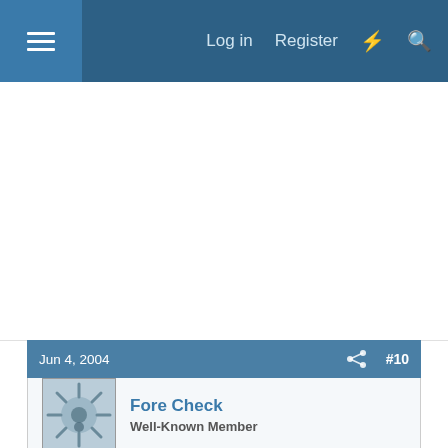Log in  Register
[Figure (other): Advertisement/blank white area]
Jun 4, 2004  #10
Fore Check
Well-Known Member
I'm with you on the "if it ain't broke" part. That's about 75% of my day - an entire office trailer to myself doing whatever I want, just listening to the 2-way radio and